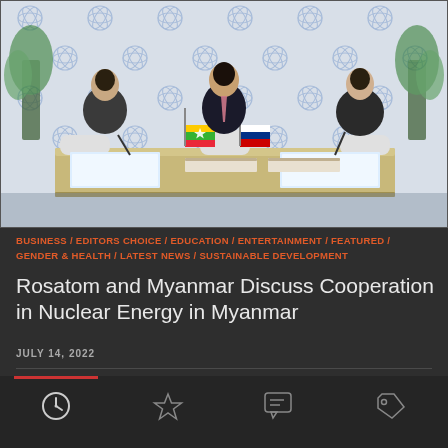[Figure (photo): Three men in suits seated at a conference table with the Rosatom step-and-repeat banner behind them. Two flags (Myanmar and Russia) are on the table. The men are looking at documents. A nameplate is visible on the table.]
BUSINESS / EDITORS CHOICE / EDUCATION / ENTERTAINMENT / FEATURED / GENDER & HEALTH / LATEST NEWS / SUSTAINABLE DEVELOPMENT
Rosatom and Myanmar Discuss Cooperation in Nuclear Energy in Myanmar
JULY 14, 2022